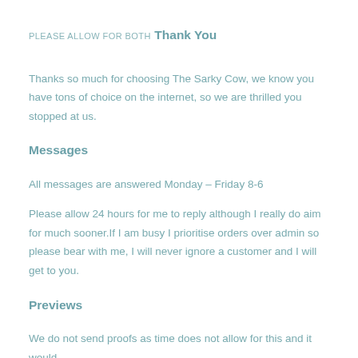PLEASE ALLOW FOR BOTH
Thank You
Thanks so much for choosing The Sarky Cow, we know you have tons of choice on the internet, so we are thrilled you stopped at us.
Messages
All messages are answered Monday – Friday 8-6
Please allow 24 hours for me to reply although I really do aim for much sooner.If I am busy I prioritise orders over admin so please bear with me, I will never ignore a customer and I will get to you.
Previews
We do not send proofs as time does not allow for this and it would